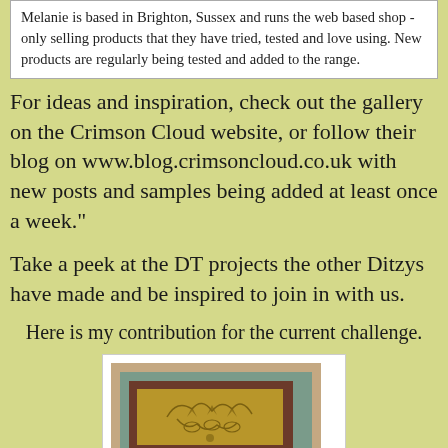Melanie is based in Brighton, Sussex and runs the web based shop - only selling products that they have tried, tested and love using. New products are regularly being tested and added to the range.
For ideas and inspiration, check out the gallery on the Crimson Cloud website, or follow their blog on www.blog.crimsoncloud.co.uk with new posts and samples being added at least once a week."
Take a peek at the DT projects the other Ditzys have made and be inspired to join in with us.
Here is my contribution for the current challenge.
[Figure (photo): A handmade craft card with layered elements: teal background, dark brown mat, and golden textured panel with embossed leaf/floral pattern, displayed with a white frame border on a pink background.]